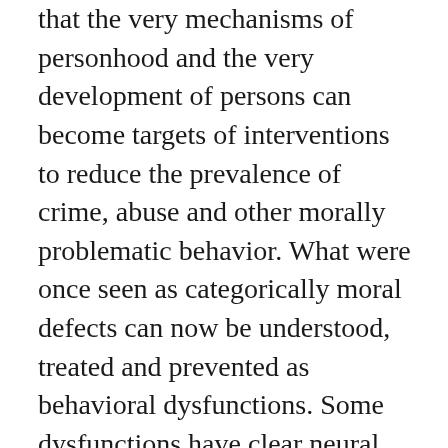that the very mechanisms of personhood and the very development of persons can become targets of interventions to reduce the prevalence of crime, abuse and other morally problematic behavior. What were once seen as categorically moral defects can now be understood, treated and prevented as behavioral dysfunctions. Some dysfunctions have clear neural etiologies, amenable to drugs, surgery and other neuro-psychiatric techniques, techniques which are improving continually. But some are the result of life-long character development, and these are